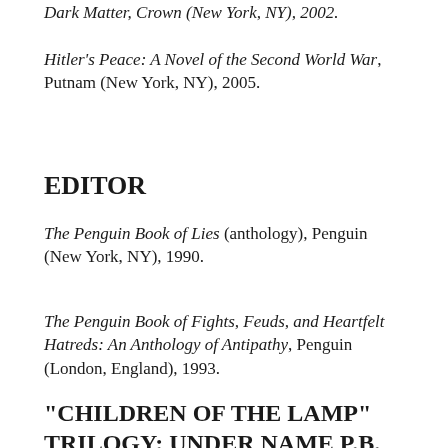Dark Matter, Crown (New York, NY), 2002.
Hitler's Peace: A Novel of the Second World War, Putnam (New York, NY), 2005.
EDITOR
The Penguin Book of Lies (anthology), Penguin (New York, NY), 1990.
The Penguin Book of Fights, Feuds, and Heartfelt Hatreds: An Anthology of Antipathy, Penguin (London, England), 1993.
"CHILDREN OF THE LAMP" TRILOGY: UNDER NAME P.B.